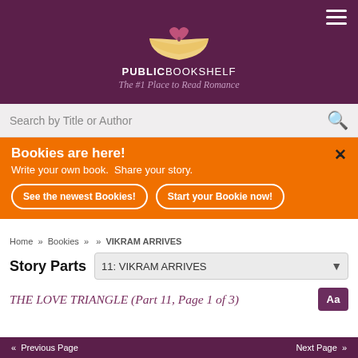[Figure (logo): PublicBookshelf logo: open book with heart, on purple background, with site name and tagline]
Search by Title or Author
Bookies are here! Write your own book. Share your story.
See the newest Bookies! | Start your Bookie now!
Home » Bookies » » VIKRAM ARRIVES
Story Parts  11: VIKRAM ARRIVES
THE LOVE TRIANGLE (Part 11, Page 1 of 3)
« Previous Page   Next Page »